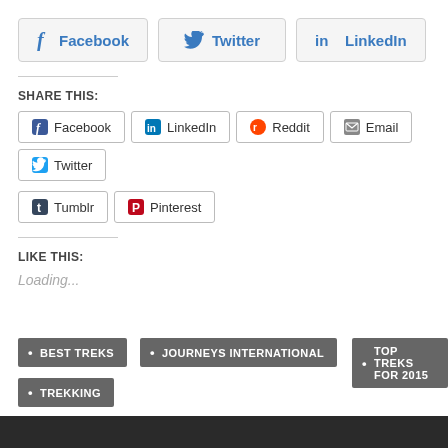[Figure (other): Social share buttons row: Facebook, Twitter, LinkedIn with icons and blue text on light gray background]
SHARE THIS:
[Figure (other): Share buttons: Facebook, LinkedIn, Reddit, Email, Twitter, Tumblr, Pinterest]
LIKE THIS:
Loading...
BEST TREKS
JOURNEYS INTERNATIONAL
TOP TREKS FOR 2015
TREKKING